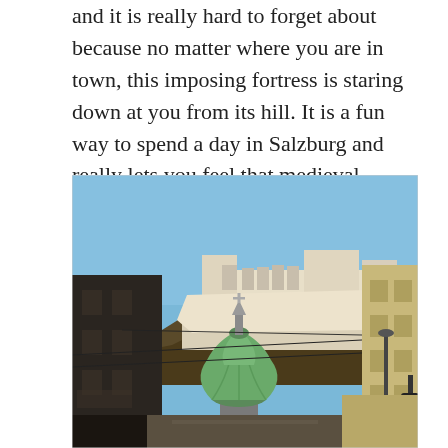and it is really hard to forget about because no matter where you are in town, this imposing fortress is staring down at you from its hill. It is a fun way to spend a day in Salzburg and really lets you feel that medieval experience that you want to get when you travel to Europe.
[Figure (photo): Street-level photograph of Salzburg, Austria, showing the Hohensalzburg Fortress perched on a hilltop above the city. In the foreground is the green copper onion dome of a baroque church tower and the facades of historic buildings lining the street. A traffic light with red lights is visible at the far right. The sky is clear blue.]